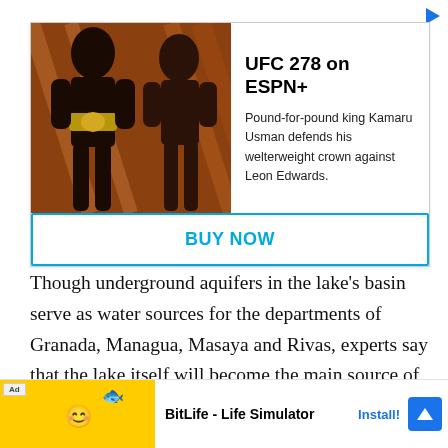[Figure (screenshot): UFC 278 on ESPN+ advertisement with two fighters facing each other, a Buy Now button, and BitLife app ad at the bottom]
Though underground aquifers in the lake's basin serve as water sources for the departments of Granada, Managua, Masaya and Rivas, experts say that the lake itself will become the main source of drinking water for Granada in less than a decade, and for Man... supplyi... Su